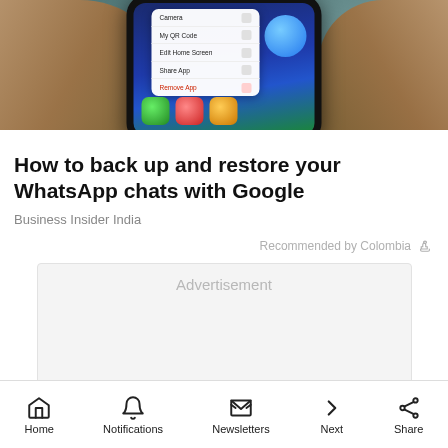[Figure (screenshot): A hand holding a smartphone showing a WhatsApp context menu with options: Camera, My QR Code, Edit Home Screen, Share App, Remove App. The phone screen also shows app icons at the bottom.]
How to back up and restore your WhatsApp chats with Google
Business Insider India
Recommended by Colombia
Advertisement
Home  Notifications  Newsletters  Next  Share